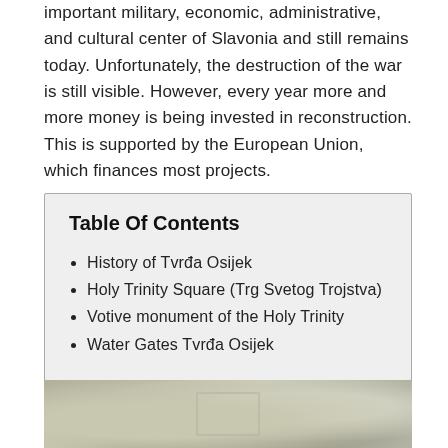important military, economic, administrative, and cultural center of Slavonia and still remains today. Unfortunately, the destruction of the war is still visible. However, every year more and more money is being invested in reconstruction. This is supported by the European Union, which finances most projects.
Table Of Contents
History of Tvrđa Osijek
Holy Trinity Square (Trg Svetog Trojstva)
Votive monument of the Holy Trinity
Water Gates Tvrđa Osijek
[Figure (photo): Aerial or textured stone/map image at the bottom of the page, partially visible, showing a fortress outline]